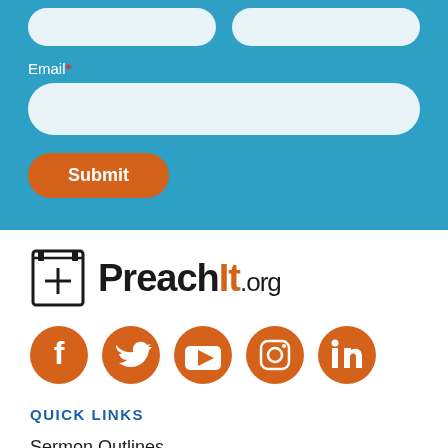[Figure (screenshot): Blue form section with two partial input fields at top, Email* label with full-width input field, and orange Submit button]
[Figure (logo): PreachIt.org logo with book/cross icon and text]
[Figure (infographic): Five orange circular social media icons: Facebook, Twitter, YouTube, Instagram, LinkedIn]
QUICK LINKS
Sermon Outlines
Sermon Series
Church Media